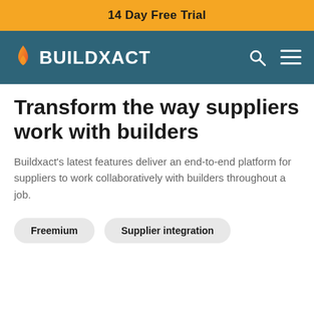14 Day Free Trial
[Figure (logo): Buildxact logo with flame icon and navigation bar on teal/dark blue background with search and menu icons]
Transform the way suppliers work with builders
Buildxact's latest features deliver an end-to-end platform for suppliers to work collaboratively with builders throughout a job.
Freemium
Supplier integration